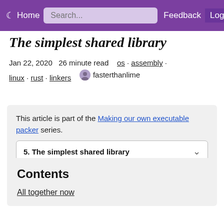Home  Search...  Feedback  Log in
The simplest shared library
Jan 22, 2020  26 minute read  os · assembly · linux · rust · linkers  fasterthanlime
This article is part of the Making our own executable packer series.
5. The simplest shared library
Contents
All together now